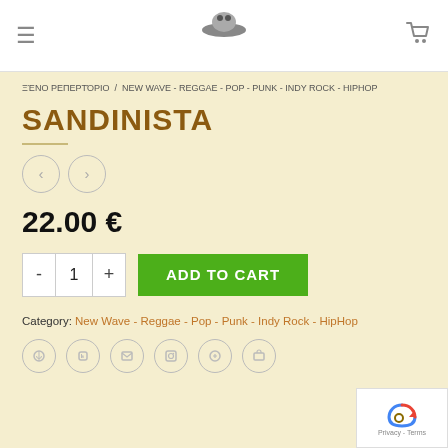Header with hamburger menu, logo, and cart icon
ΞΈΝΟ ΡΕΠΕΡΤΌΡΙΟ / NEW WAVE - REGGAE - POP - PUNK - INDY ROCK - HIPHOP
SANDINISTA
22.00 €
ADD TO CART
Category: New Wave - Reggae - Pop - Punk - Indy Rock - HipHop